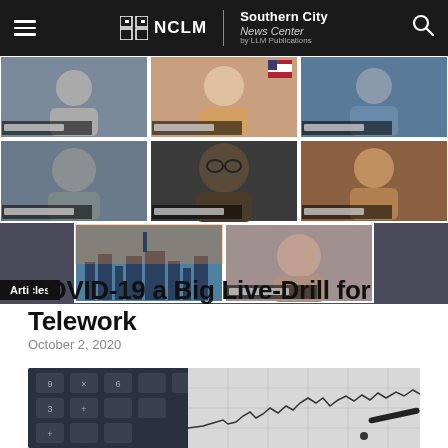NCLM | Southern City News Center by LLM Publications
[Figure (screenshot): Video conference grid showing 7 participants in a virtual meeting, with NCLM branded backgrounds. Bottom left shows 'Articles' badge overlay.]
Articles
COVID-19 a Big Live-Drill for Telework
October 2, 2020
[Figure (photo): Close-up photo of a calculator keyboard and a financial chart paper showing a line graph, with a pen, in black and white tones.]